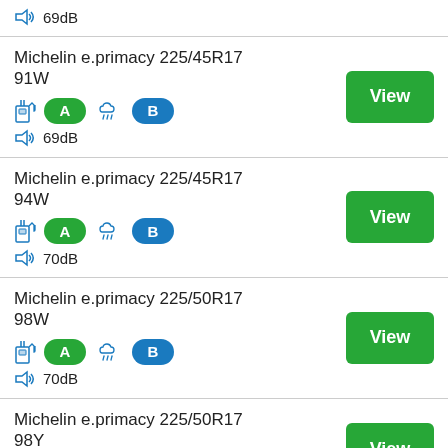69dB (partial row at top)
Michelin e.primacy 225/45R17 91W — A fuel, rain, B wet, 69dB
Michelin e.primacy 225/45R17 94W — A fuel, rain, B wet, 70dB
Michelin e.primacy 225/50R17 98W — A fuel, rain, B wet, 70dB
Michelin e.primacy 225/50R17 98Y — A fuel, rain, B wet